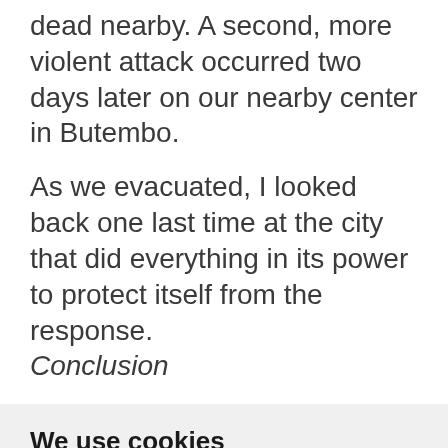dead nearby. A second, more violent attack occurred two days later on our nearby center in Butembo.
As we evacuated, I looked back one last time at the city that did everything in its power to protect itself from the response. Conclusion
We use cookies
We use cookies and other tracking technologies to improve your browsing experience on our website, to show you personalized content and targeted ads, to analyze our website traffic, and to understand where our visitors are coming from.